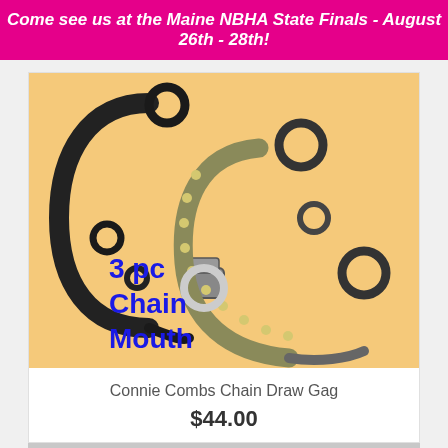Come see us at the Maine NBHA State Finals - August 26th - 28th!
[Figure (photo): Product photo of Connie Combs Chain Draw Gag bit on tan/peach background with text '3 pc Chain Mouth' in blue bold text overlay]
Connie Combs Chain Draw Gag
$44.00
READ MORE